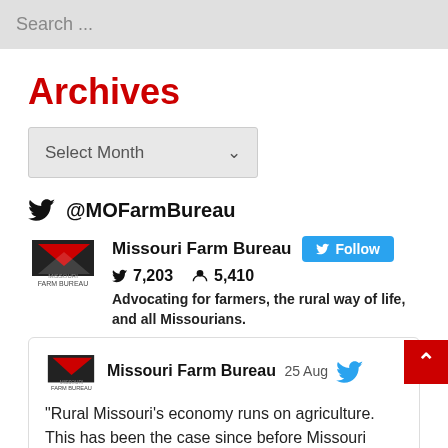Search ...
Archives
Select Month
@MOFarmBureau
Missouri Farm Bureau
7,203  5,410
Advocating for farmers, the rural way of life, and all Missourians.
Missouri Farm Bureau  25 Aug
"Rural Missouri's economy runs on agriculture. This has been the case since before Missouri became a state, and it remains true today. Staying on the